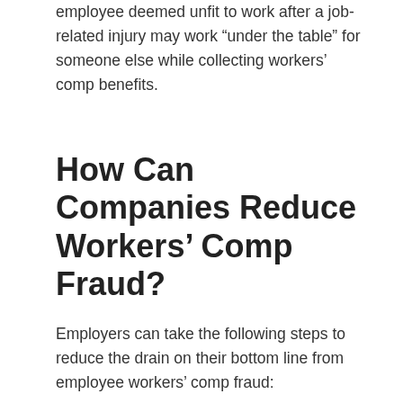employee deemed unfit to work after a job-related injury may work “under the table” for someone else while collecting workers’ comp benefits.
How Can Companies Reduce Workers’ Comp Fraud?
Employers can take the following steps to reduce the drain on their bottom line from employee workers’ comp fraud: